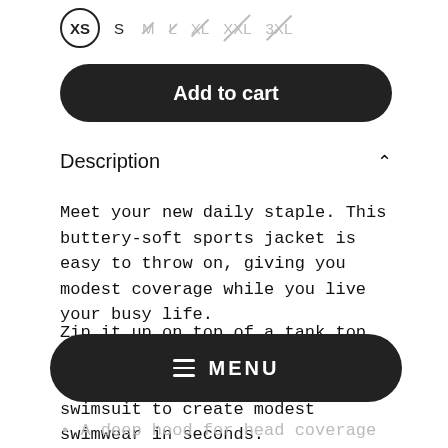[Figure (screenshot): Size selector row showing XS (selected, circled), S, M (strikethrough/unavailable), L (strikethrough/unavailable), XL (strikethrough/unavailable), XXL (strikethrough/unavailable), 3XL (strikethrough/unavailable)]
Add to cart
Description
Meet your new daily staple. This buttery-soft sports jacket is easy to throw on, giving you modest coverage while you live your busy life.
Zip it up on top of a tank top to exercise or run errands or layer it over your one-piece swimsuit to create modest swimwear in seconds.
≡ MENU
A deep hood for head coverage